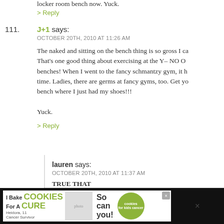locker room bench now. Yuck.
> Reply
111. J+1 says: OCTOBER 20TH, 2010 AT 11:26 AM — The naked and sitting on the bench thing is so gross I ca... That's one good thing about exercising at the Y– NO O... benches! When I went to the fancy schmantzy gym, it h... time. Ladies, there are germs at fancy gyms, too. Get yo... bench where I just had my shoes!!! Yuck.
> Reply
lauren says: OCTOBER 20TH, 2010 AT 11:37 AM — TRUE THAT
> Reply
[Figure (infographic): Advertisement banner: I Bake COOKIES For A CURE with photo of girl, 'So can you!' text, cookies for kids cancer logo, and close button]